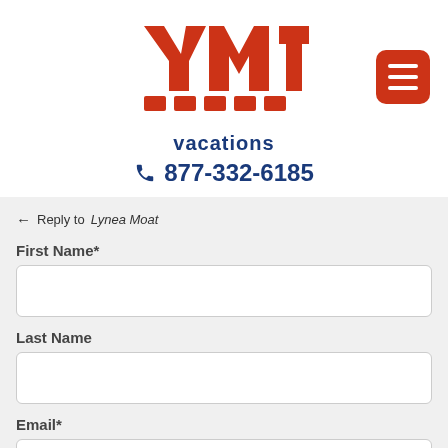[Figure (logo): YMT Vacations logo with red stylized letters and blue 'vacations' text below]
☎ 877-332-6185
← Reply to Lynea Moat
First Name*
Last Name
Email*